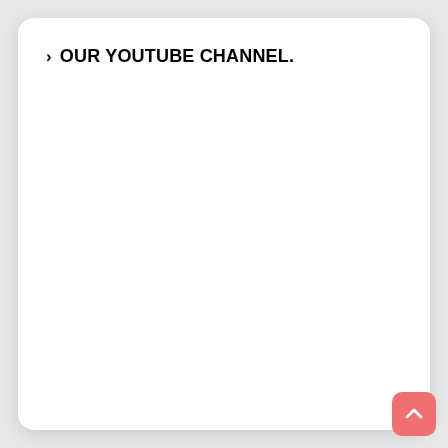> OUR YOUTUBE CHANNEL.
[Figure (other): Scroll-to-top button: a rounded salmon/coral pink square with an upward-pointing chevron arrow icon, positioned at the bottom-right of the page.]